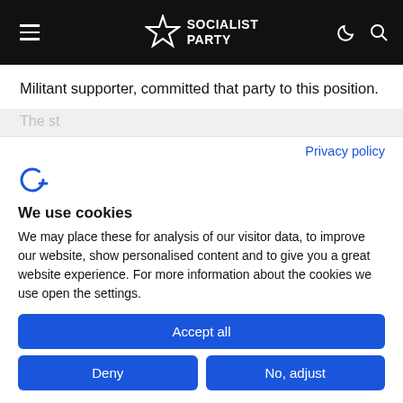Socialist Party
Militant supporter, committed that party to this position.
The st...
Privacy policy
We use cookies
We may place these for analysis of our visitor data, to improve our website, show personalised content and to give you a great website experience. For more information about the cookies we use open the settings.
Accept all
Deny
No, adjust